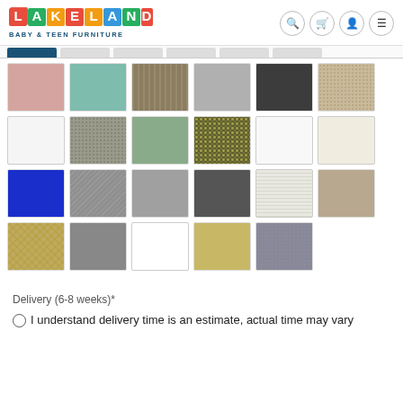LAKELAND BABY & TEEN FURNITURE
[Figure (illustration): Color/fabric swatch selector grid showing 23 fabric swatches in 4 rows: row 1 has pink, teal, tan/khaki, light gray, dark charcoal, burlap; row 2 has white, gray textured, sage green, olive/gold mosaic, white, off-white; row 3 has royal blue, gray woven, medium gray, dark gray, white textured, tan/beige; row 4 has gold geometric, medium gray, white, gold/yellow, gray mosaic.]
Delivery (6-8 weeks)*
○ I understand delivery time is an estimate, actual time may vary